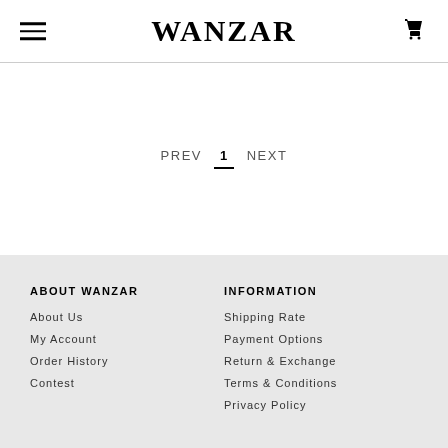WANZAR
PREV  1  NEXT
ABOUT WANZAR
About Us
My Account
Order History
Contest
INFORMATION
Shipping Rate
Payment Options
Return & Exchange
Terms & Conditions
Privacy Policy